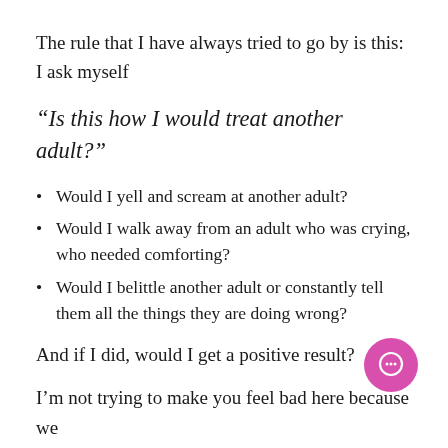The rule that I have always tried to go by is this: I ask myself
“Is this how I would treat another adult?”
Would I yell and scream at another adult?
Would I walk away from an adult who was crying, who needed comforting?
Would I belittle another adult or constantly tell them all the things they are doing wrong?
And if I did, would I get a positive result?
I’m not trying to make you feel bad here because we